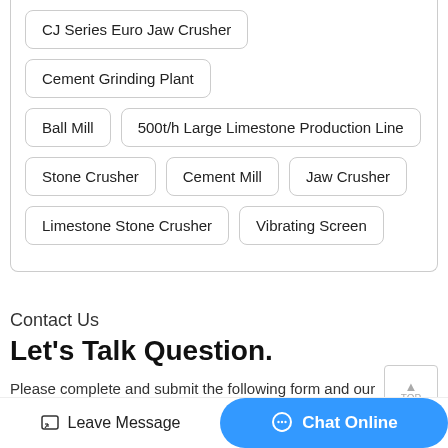CJ Series Euro Jaw Crusher
Cement Grinding Plant
Ball Mill
500t/h Large Limestone Production Line
Stone Crusher
Cement Mill
Jaw Crusher
Limestone Stone Crusher
Vibrating Screen
Contact Us
Let's Talk Question.
Please complete and submit the following form and our sales team will contact you shortly with our best prices.
Leave Message  Chat Online